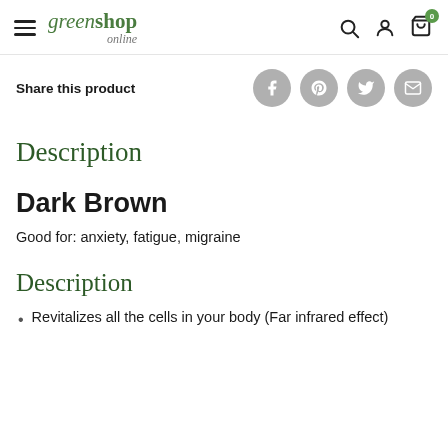greenshop online — navigation header with hamburger menu, search, account, and cart (0 items)
Share this product
Description
Dark Brown
Good for: anxiety, fatigue, migraine
Description
Revitalizes all the cells in your body (Far infrared effect)